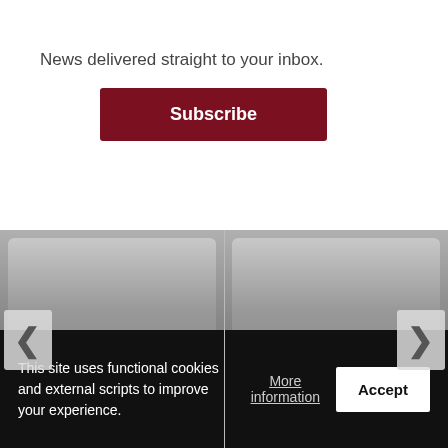News delivered straight to your inbox.
Subscribe
[Figure (screenshot): News carousel showing two article cards: 'Sablan-Staffler challenges Torres and ...' (s ago · 15 comments) and 'Webinar shows how to apply fo Public ...' (13 hours ago · 1 c...), with left and right navigation arrows]
This site uses functional cookies and external scripts to improve your experience.
More information
Accept